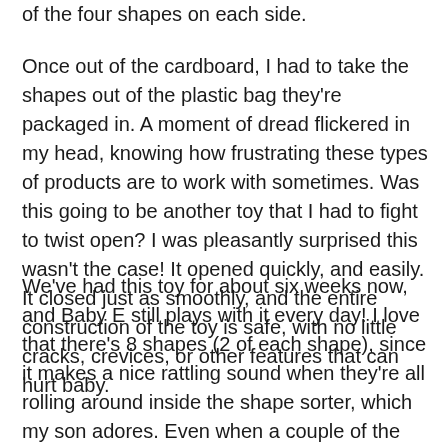of the four shapes on each side.
Once out of the cardboard, I had to take the shapes out of the plastic bag they're packaged in. A moment of dread flickered in my head, knowing how frustrating these types of products are to work with sometimes. Was this going to be another toy that I had to fight to twist open? I was pleasantly surprised this wasn't the case! It opened quickly, and easily. It closed just as smoothly, and the entire construction of the toy is safe, with no little cracks, crevices, or other features that can hurt baby.
We've had this toy for about six weeks now, and Baby E still plays with it every day! I love that there's 8 shapes (2 of each shape), since it makes a nice rattling sound when they're all rolling around inside the shape sorter, which my son adores. Even when a couple of the shapes get misplaced (as is bound to happen), there are still plenty to make it a functional toy. On the other hand, we had previously purchased another shape sorter, which only came with 4 shapes, and three of them were misplaced. A shape sorter with only one shape is pretty obsolete! It's